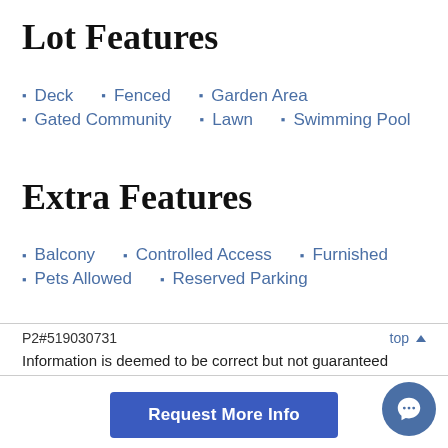Lot Features
Deck
Fenced
Garden Area
Gated Community
Lawn
Swimming Pool
Extra Features
Balcony
Controlled Access
Furnished
Pets Allowed
Reserved Parking
P2#519030731
Information is deemed to be correct but not guaranteed